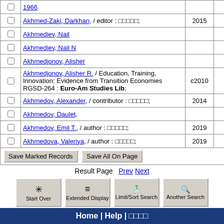|  | Name/Details | Year | # |
| --- | --- | --- | --- |
| ☐ | 1966 |  |  |
| ☐ | Akhmed-Zaki, Darkhan, / editor : □□□□□; | 2015 | 1 |
| ☐ | Akhmediev, Nail |  | 2 |
| ☐ | Akhmediev, Nail N |  | 3 |
| ☐ | Akhmedjonov, Alisher |  | 2 |
| ☐ | Akhmedjonov, Alisher R. / Education, Training, Innovation: Evidence from Transition Economies RGSD-264 : Euro-Am Studies Lib; | c2010 | 1 |
| ☐ | Akhmedov, Alexander, / contributor : □□□□□; | 2014 | 1 |
| ☐ | Akhmedov, Daulet, |  | 2 |
| ☐ | Akhmedov, Emil T., / author : □□□□□; | 2019 | 1 |
| ☐ | Akhmedova, Valeriya, / author : □□□□□; | 2019 | 1 |
Save Marked Records   Save All On Page
Result Page   Prev   Next
[Figure (screenshot): Navigation buttons: Start Over, Extended Display, Limit/Sort Search, Another Search]
Home | Help | □□□□